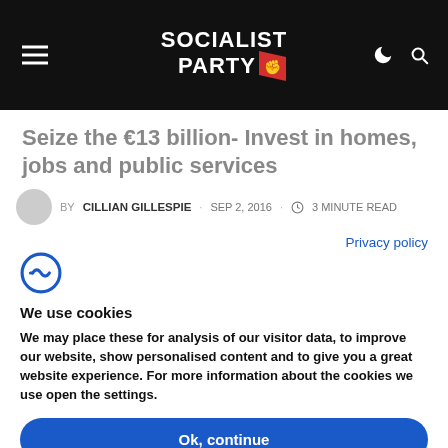Socialist Party
Seize the €13 billion- Invest in homes, jobs and public services
BY CILLIAN GILLESPIE · SEP 2, 2016 · 3 MINUTE READ
Privacy policy
We use cookies
We may place these for analysis of our visitor data, to improve our website, show personalised content and to give you a great website experience. For more information about the cookies we use open the settings.
Ok, continue
Deny
No, adjust